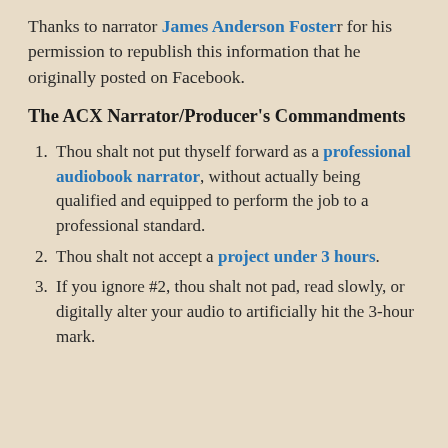Thanks to narrator James Anderson Foster for his permission to republish this information that he originally posted on Facebook.
The ACX Narrator/Producer's Commandments
Thou shalt not put thyself forward as a professional audiobook narrator, without actually being qualified and equipped to perform the job to a professional standard.
Thou shalt not accept a project under 3 hours.
If you ignore #2, thou shalt not pad, read slowly, or digitally alter your audio to artificially hit the 3-hour mark.